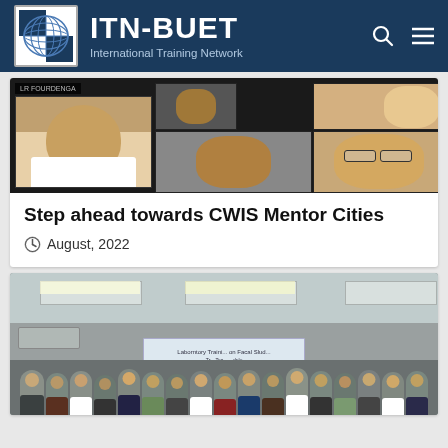ITN-BUET — International Training Network
[Figure (photo): Video call screenshot showing multiple participants in grid view]
Step ahead towards CWIS Mentor Cities
August, 2022
[Figure (photo): Group photo of participants at a laboratory training event on Faecal Sludge]